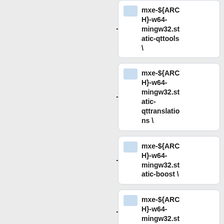[Figure (flowchart): Vertical list of flowchart/tree nodes showing package names: mxe-${ARCH}-w64-mingw32.static-qttools\, mxe-${ARCH}-w64-mingw32.static-qttranslations\, mxe-${ARCH}-w64-mingw32.static-boost\, mxe-${ARCH}-w64-mingw32.static- (partial)]